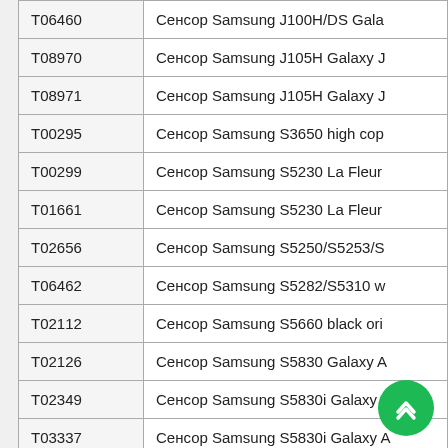| Code | Description |
| --- | --- |
| T06460 | Сенсор Samsung J100H/DS Gala |
| T08970 | Сенсор Samsung J105H Galaxy J |
| T08971 | Сенсор Samsung J105H Galaxy J |
| T00295 | Сенсор Samsung S3650 high cop |
| T00299 | Сенсор Samsung S5230 La Fleur |
| T01661 | Сенсор Samsung S5230 La Fleur |
| T02656 | Сенсор Samsung S5250/S5253/S |
| T06462 | Сенсор Samsung S5282/S5310 w |
| T02112 | Сенсор Samsung S5660 black ori |
| T02126 | Сенсор Samsung S5830 Galaxy A |
| T02349 | Сенсор Samsung S5830i Galaxy A |
| T03337 | Сенсор Samsung S5830i Galaxy A |
| T02638 | Сенсор Samsung S6802/6352 wh |